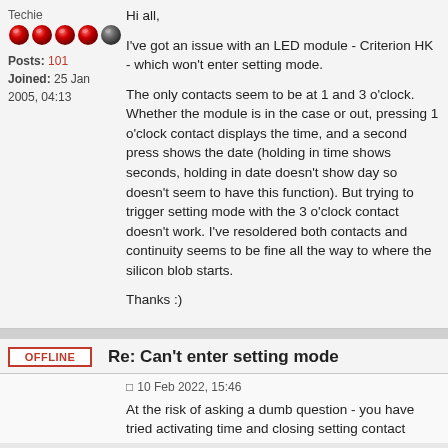Techie
[Figure (illustration): Five star rating icons: four red glossy circles and one grey/dark circle]
Posts: 101
Joined: 25 Jan 2005, 04:13
Hi all,

I've got an issue with an LED module - Criterion HK - which won't enter setting mode.

The only contacts seem to be at 1 and 3 o'clock. Whether the module is in the case or out, pressing 1 o'clock contact displays the time, and a second press shows the date (holding in time shows seconds, holding in date doesn't show day so doesn't seem to have this function). But trying to trigger setting mode with the 3 o'clock contact doesn't work. I've resoldered both contacts and continuity seems to be fine all the way to where the silicon blob starts.

Thanks :)
OFFLINE
Re: Can't enter setting mode
10 Feb 2022, 15:46
At the risk of asking a dumb question - you have tried activating time and closing setting contact